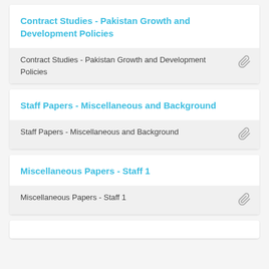Contract Studies - Pakistan Growth and Development Policies
Contract Studies - Pakistan Growth and Development Policies
Staff Papers - Miscellaneous and Background
Staff Papers - Miscellaneous and Background
Miscellaneous Papers - Staff 1
Miscellaneous Papers - Staff 1